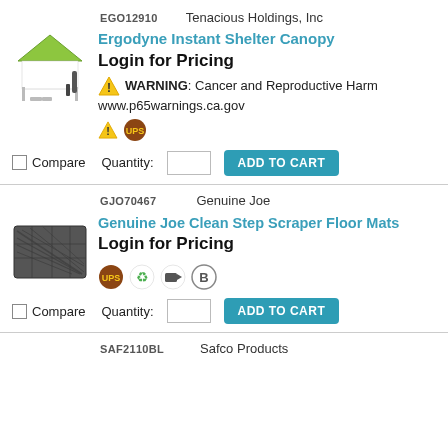EGO12910   Tenacious Holdings, Inc
Ergodyne Instant Shelter Canopy
Login for Pricing
WARNING: Cancer and Reproductive Harm www.p65warnings.ca.gov
Compare  Quantity:  ADD TO CART
GJO70467   Genuine Joe
Genuine Joe Clean Step Scraper Floor Mats
Login for Pricing
Compare  Quantity:  ADD TO CART
SAF2110BL   Safco Products